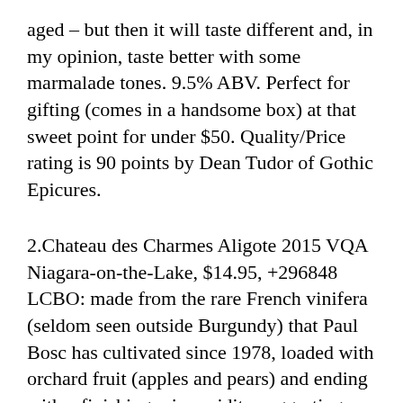aged – but then it will taste different and, in my opinion, taste better with some marmalade tones. 9.5% ABV. Perfect for gifting (comes in a handsome box) at that sweet point for under $50. Quality/Price rating is 90 points by Dean Tudor of Gothic Epicures.
2.Chateau des Charmes Aligote 2015 VQA Niagara-on-the-Lake, $14.95, +296848 LCBO: made from the rare French vinifera (seldom seen outside Burgundy) that Paul Bosc has cultivated since 1978, loaded with orchard fruit (apples and pears) and ending with a finishing crisp acidity suggesting food more than sipping. It was often used in Burgundy as the white wine base for Kir (now, almost any dry white is used); it is refreshing for summer and is unoaked. 13% ABV. Quality/Price rating is 89 points by Dean Tudor of Gothic Epicures.